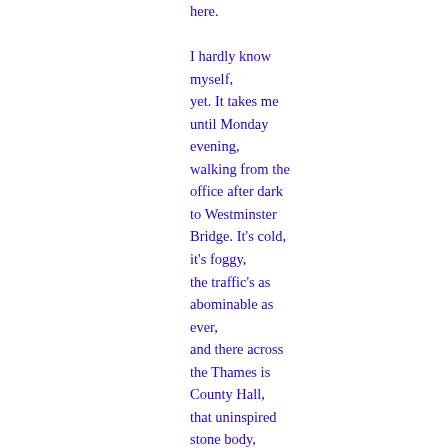here.

I hardly know myself,
yet. It takes me until Monday evening,
walking from the office after dark to Westminster Bridge. It's cold, it's foggy,
the traffic's as abominable as ever,
and there across the Thames is County Hall,
that uninspired stone body, floodlit.
It makes me laugh. In fact, it makes me sing.